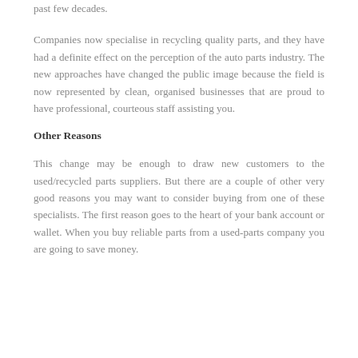past few decades.
Companies now specialise in recycling quality parts, and they have had a definite effect on the perception of the auto parts industry. The new approaches have changed the public image because the field is now represented by clean, organised businesses that are proud to have professional, courteous staff assisting you.
Other Reasons
This change may be enough to draw new customers to the used/recycled parts suppliers. But there are a couple of other very good reasons you may want to consider buying from one of these specialists. The first reason goes to the heart of your bank account or wallet. When you buy reliable parts from a used-parts company you are going to save money.